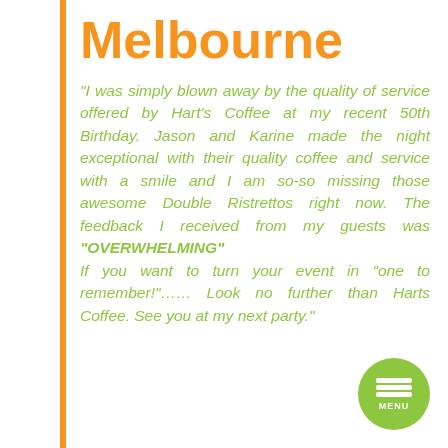Melbourne
"I was simply blown away by the quality of service offered by Hart's Coffee at my recent 50th Birthday. Jason and Karine made the night exceptional with their quality coffee and service with a smile and I am so-so missing those awesome Double Ristrettos right now. The feedback I received from my guests was "OVERWHELMING" If you want to turn your event in "one to remember!"…… Look no further than Harts Coffee. See you at my next party."
[Figure (illustration): Green circular menu button with three white horizontal lines and MENU text label]